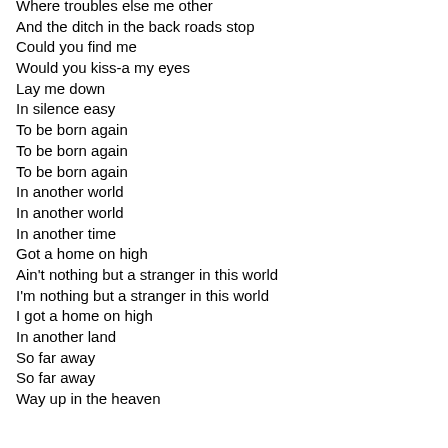Where troubles else me other
And the ditch in the back roads stop
Could you find me
Would you kiss-a my eyes
Lay me down
In silence easy
To be born again
To be born again
To be born again
In another world
In another world
In another time
Got a home on high
Ain't nothing but a stranger in this world
I'm nothing but a stranger in this world
I got a home on high
In another land
So far away
So far away
Way up in the heaven